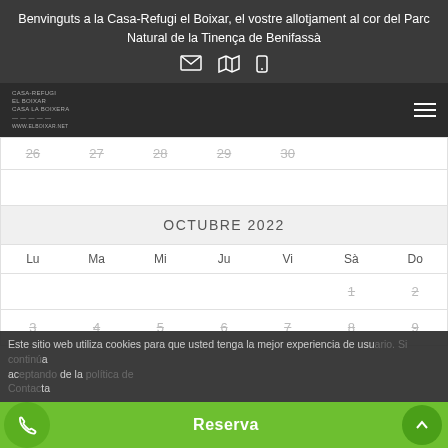Benvinguts a la Casa-Refugi el Boixar, el vostre allotjament al cor del Parc Natural de la Tinença de Benifassà
[Figure (screenshot): Website navigation bar with Casa-Refugi el Boixar logo on the left and hamburger menu icon on the right, on dark background]
| Lu | Ma | Mi | Ju | Vi | Sà | Do |
| --- | --- | --- | --- | --- | --- | --- |
| 26 | 27 | 28 | 29 | 30 |  |  |
|  |  |  |  |  | 1 | 2 |
| 3 | 4 | 5 | 6 | 7 | 8 | 9 |
OCTUBRE 2022
Este sitio web utiliza cookies para que usted tenga la mejor experiencia de usuario. Si continúa navegando está dando su consentimiento para la aceptación de las mencionadas cookies y la aceptación de nuestra política de cookies. Contacta
Reserva